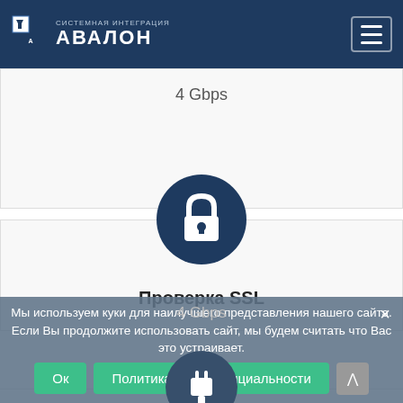АВАЛОН — системная интеграция
4 Gbps
[Figure (illustration): Dark blue circle with white padlock icon representing SSL security]
Проверка SSL
4 Gbps
Мы используем куки для наилучшего представления нашего сайта. Если Вы продолжите использовать сайт, мы будем считать что Вас это устраивает.
Ок
Политика конфиденциальности